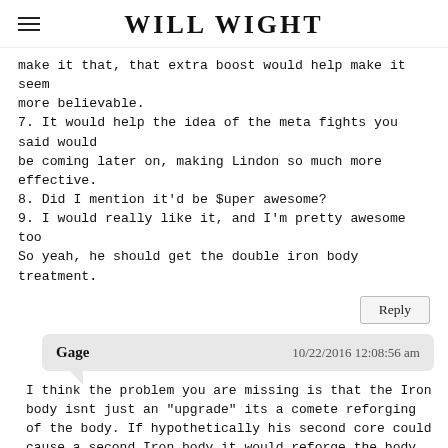WILL WIGHT
make it that, that extra boost would help make it seem more believable.
7. It would help the idea of the meta fights you said would be coming later on, making Lindon so much more effective.
8. Did I mention it'd be $uper awesome?
9. I would really like it, and I'm pretty awesome too
So yeah, he should get the double iron body treatment.
Reply
Gage   10/22/2016 12:08:56 am
I think the problem you are missing is that the Iron body isnt just an "upgrade" its a comete reforging of the body. If hypothetically his second core could cause a second Iron body it would reforge the body and overwrite the old one.

Itd be like forging a sword or a piece of armor. You get a nice finished product, if you tried to reforge it again, the old form would be gone.